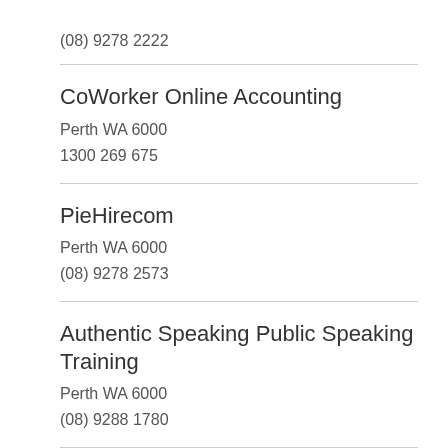(08) 9278 2222
CoWorker Online Accounting
Perth WA 6000
1300 269 675
PieHirecom
Perth WA 6000
(08) 9278 2573
Authentic Speaking Public Speaking Training
Perth WA 6000
(08) 9288 1780